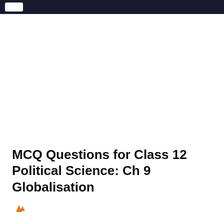MCQ Questions for Class 12 Political Science: Ch 9 Globalisation